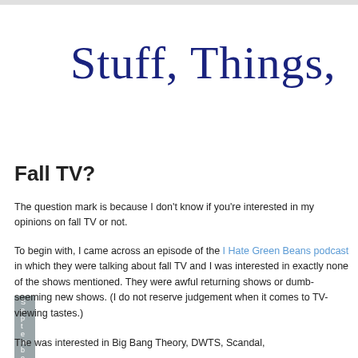Stuff, Things, etc.
September 28, 2017
Fall TV?
The question mark is because I don't know if you're interested in my opinions on fall TV or not.
To begin with, I came across an episode of the I Hate Green Beans podcast in which they were talking about fall TV and I was interested in exactly none of the shows mentioned. They were awful returning shows or dumb-seeming new shows. (I do not reserve judgement when it comes to TV-viewing tastes.)
The was interested in Big Bang Theory, DWTS, Scandal,